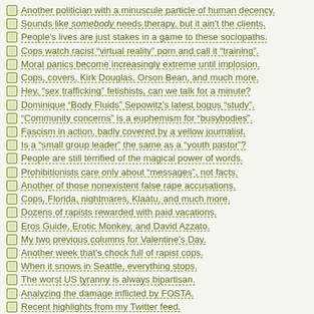Another politician with a minuscule particle of human decency.
Sounds like somebody needs therapy, but it ain't the clients.
People's lives are just stakes in a game to these sociopaths.
Cops watch racist “virtual reality” porn and call it “training”.
Moral panics become increasingly extreme until implosion.
Cops, covers, Kirk Douglas, Orson Bean, and much more.
Hey, “sex trafficking” fetishists, can we talk for a minute?
Dominique “Body Fluids” Sepowitz’s latest bogus “study”.
“Community concerns” is a euphemism for “busybodies”.
Fascism in action, badly covered by a yellow journalist.
Is a “small group leader” the same as a “youth pastor”?
People are still terrified of the magical power of words.
Prohibitionists care only about “messages”, not facts.
Another of those nonexistent false rape accusations.
Cops, Florida, nightmares, Klaatu, and much more.
Dozens of rapists rewarded with paid vacations.
Eros Guide, Erotic Monkey, and David Azzato.
My two previous columns for Valentine’s Day.
Another week that’s chock full of rapist cops.
When it snows in Seattle, everything stops.
The worst US tyranny is always bipartisan.
Analyzing the damage inflicted by FOSTA.
Recent highlights from my Twitter feed.